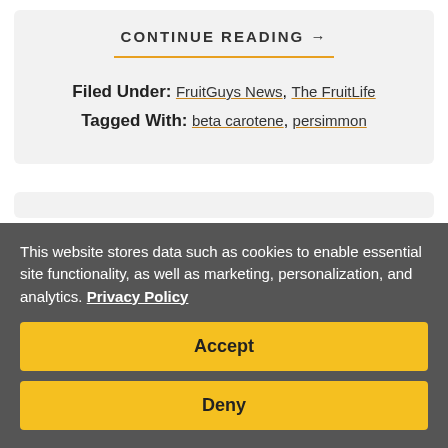CONTINUE READING →
Filed Under: FruitGuys News, The FruitLife
Tagged With: beta carotene, persimmon
This website stores data such as cookies to enable essential site functionality, as well as marketing, personalization, and analytics. Privacy Policy
Accept
Deny